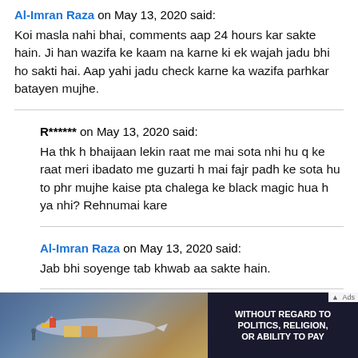Al-Imran Raza on May 13, 2020 said:
Koi masla nahi bhai, comments aap 24 hours kar sakte hain. Ji han wazifa ke kaam na karne ki ek wajah jadu bhi ho sakti hai. Aap yahi jadu check karne ka wazifa parhkar batayen mujhe.
R****** on May 13, 2020 said:
Ha thk h bhaijaan lekin raat me mai sota nhi hu q ke raat meri ibadato me guzarti h mai fajr padh ke sota hu to phr mujhe kaise pta chalega ke black magic hua h ya nhi? Rehnumai kare
Al-Imran Raza on May 13, 2020 said:
Jab bhi soyenge tab khwab aa sakte hain.
[Figure (photo): Advertisement banner showing an airplane being loaded with cargo, with text 'WITHOUT REGARD TO POLITICS, RELIGION, OR ABILITY TO PAY']